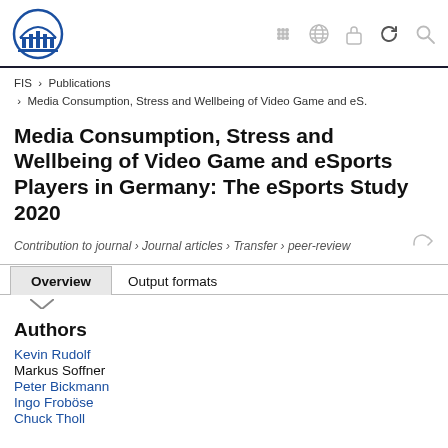FIS › Publications › Media Consumption, Stress and Wellbeing of Video Game and eS.
Media Consumption, Stress and Wellbeing of Video Game and eSports Players in Germany: The eSports Study 2020
Contribution to journal › Journal articles › Transfer › peer-review
Overview | Output formats
Authors
Kevin Rudolf
Markus Soffner
Peter Bickmann
Ingo Froböse
Chuck Tholl